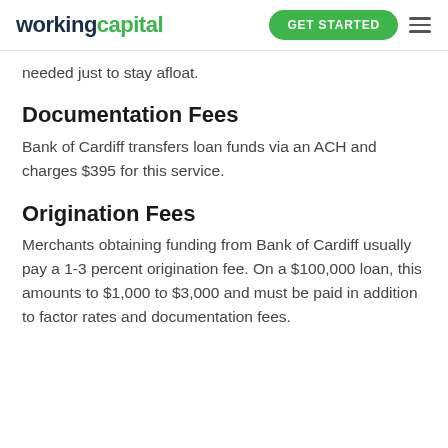workingcapital | GET STARTED
needed just to stay afloat.
Documentation Fees
Bank of Cardiff transfers loan funds via an ACH and charges $395 for this service.
Origination Fees
Merchants obtaining funding from Bank of Cardiff usually pay a 1-3 percent origination fee. On a $100,000 loan, this amounts to $1,000 to $3,000 and must be paid in addition to factor rates and documentation fees.